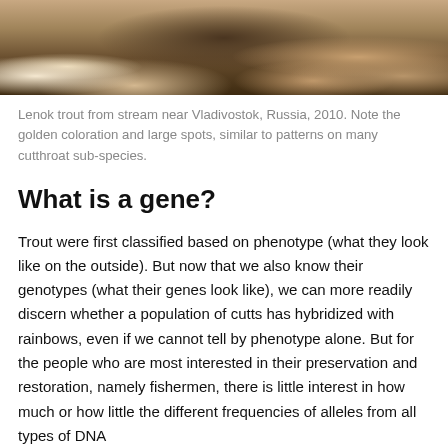[Figure (photo): Close-up photo of a Lenok trout being held, showing golden coloration and large spots, with sandy/rocky substrate visible. Only the bottom portion of the image is visible (cropped at top).]
Lenok trout from stream near Vladivostok, Russia, 2010. Note the golden coloration and large spots, similar to patterns on many cutthroat sub-species.
What is a gene?
Trout were first classified based on phenotype (what they look like on the outside). But now that we also know their genotypes (what their genes look like), we can more readily discern whether a population of cutts has hybridized with rainbows, even if we cannot tell by phenotype alone. But for the people who are most interested in their preservation and restoration, namely fishermen, there is little interest in how much or how little the different frequencies of alleles from all types of DNA